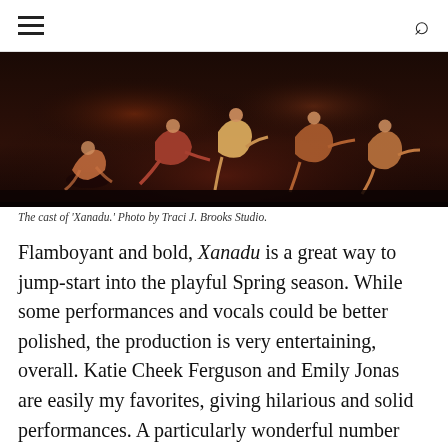[hamburger menu] [search icon]
[Figure (photo): Dancers on a darkened stage performing in Xanadu, several in colorful costumes with dramatic lighting.]
The cast of 'Xanadu.' Photo by Traci J. Brooks Studio.
Flamboyant and bold, Xanadu is a great way to jump-start into the playful Spring season. While some performances and vocals could be better polished, the production is very entertaining, overall. Katie Cheek Ferguson and Emily Jonas  are easily my favorites, giving hilarious and solid performances. A particularly wonderful number mixes 80’s punk-rock music with 1930’s swing and tap-dance  in “Dancin.” The outrageous dance moves poke fun at themselves while